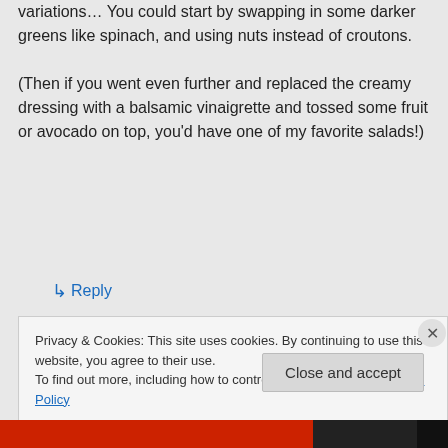variations… You could start by swapping in some darker greens like spinach, and using nuts instead of croutons. (Then if you went even further and replaced the creamy dressing with a balsamic vinaigrette and tossed some fruit or avocado on top, you'd have one of my favorite salads!)
↳ Reply
Privacy & Cookies: This site uses cookies. By continuing to use this website, you agree to their use. To find out more, including how to control cookies, see here: Cookie Policy
Close and accept